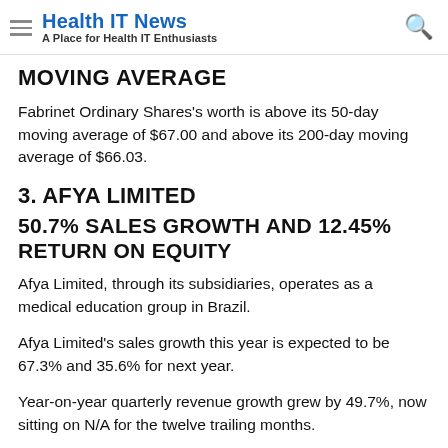Health IT News – A Place for Health IT Enthusiasts
MOVING AVERAGE
Fabrinet Ordinary Shares's worth is above its 50-day moving average of $67.00 and above its 200-day moving average of $66.03.
3. AFYA LIMITED
50.7% SALES GROWTH AND 12.45% RETURN ON EQUITY
Afya Limited, through its subsidiaries, operates as a medical education group in Brazil.
Afya Limited's sales growth this year is expected to be 67.3% and 35.6% for next year.
Year-on-year quarterly revenue growth grew by 49.7%, now sitting on N/A for the twelve trailing months.